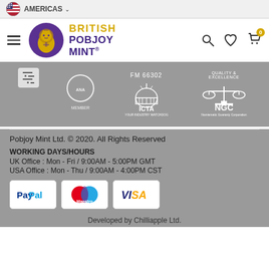AMERICAS
[Figure (logo): British Pobjoy Mint logo with lion emblem]
[Figure (infographic): Organisation logos band: FM 66302, ICTA YOUR INDUSTRY WATCHDOG, NGC Numismatic Guaranty Corporation, with filter icon and member badge]
Pobjoy Mint Ltd. © 2020. All Rights Reserved
WORKING DAYS/HOURS
UK Office : Mon - Fri / 9:00AM - 5:00PM GMT
USA Office : Mon - Thu / 9:00AM - 4:00PM CST
[Figure (infographic): Payment logos: PayPal, Maestro, VISA]
Developed by Chilliapple Ltd.